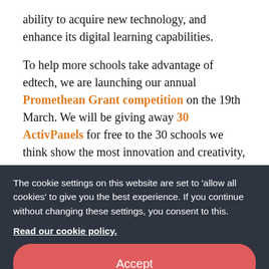ability to acquire new technology, and enhance its digital learning capabilities.
To help more schools take advantage of edtech, we are launching our annual Promethean Grant competition on the 19th March. We will be giving away 30 ActivPanels for free to the 30 schools we think show the most innovation and creativity, along with their need for new edtech and the overall impact it will have.
The cookie settings on this website are set to 'allow all cookies' to give you the best experience. If you continue without changing these settings, you consent to this.
Read our cookie policy.
Accept
All our winning entries highlighted exactly how